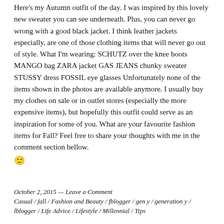Here's my Autumn outfit of the day. I was inspired by this lovely new sweater you can see underneath. Plus, you can never go wrong with a good black jacket. I think leather jackets especially, are one of those clothing items that will never go out of style. What I'm wearing: SCHUTZ over the knee boots MANGO bag ZARA jacket GAS JEANS chunky sweater STUSSY dress FOSSIL eye glasses Unfortunately none of the items shown in the photos are available anymore. I usually buy my clothes on sale or in outlet stores (especially the more expensive items), but hopefully this outfit could serve as an inspiration for some of you. What are your favourite fashion items for Fall? Feel free to share your thoughts with me in the comment section bellow. 🙂
October 2, 2015 — Leave a Comment
Casual / fall / Fashion and Beauty / fblogger / gen y / generation y / lblogger / Life Advice / Lifestyle / Millennial / Tips